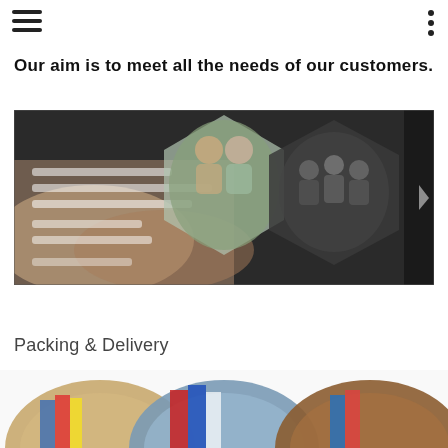[Figure (other): Hamburger menu icon (three horizontal lines) in top-left corner]
[Figure (other): Three-dot vertical menu icon in top-right corner]
Our aim is to meet all the needs of our customers.
[Figure (photo): Wide banner image showing a handshake in the foreground with blurred text overlay on the left side, and hexagonal-framed photos of people (team meetings, group discussions) on the right side against a dark background.]
Packing & Delivery
[Figure (photo): Bottom strip showing three partially visible round product images (bowls or packages with colorful wrapping) cropped at the bottom edge of the page.]